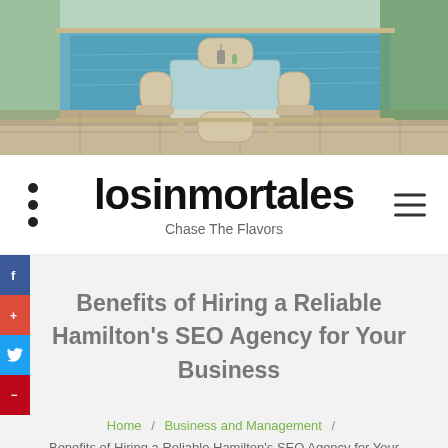[Figure (photo): Outdoor patio scene with wicker furniture set including chairs and a glass table, beside a swimming pool with stone tile flooring and greenery in the background]
losinmortales — Chase The Flavors
Benefits of Hiring a Reliable Hamilton's SEO Agency for Your Business
Home / Business and Management / Benefits of Hiring a Reliable Hamilton's SEO Agency for Your Business